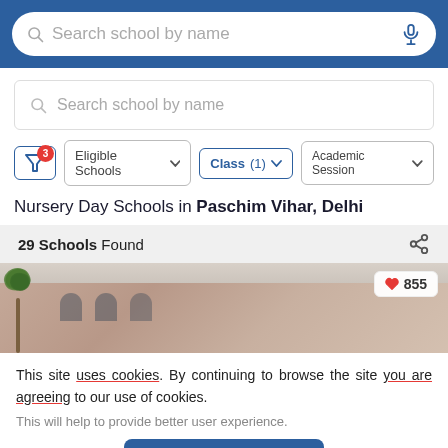Search school by name
Search school by name
Eligible Schools  Class (1)  Academic Session
Nursery Day Schools in Paschim Vihar, Delhi
29 Schools Found
[Figure (photo): Photo of a school building exterior with brick facade, arched windows, and palm trees in the foreground. Heart icon with count 855 overlaid in top right.]
This site uses cookies. By continuing to browse the site you are agreeing to our use of cookies.
This will help to provide better user experience.
Ok, I Understand